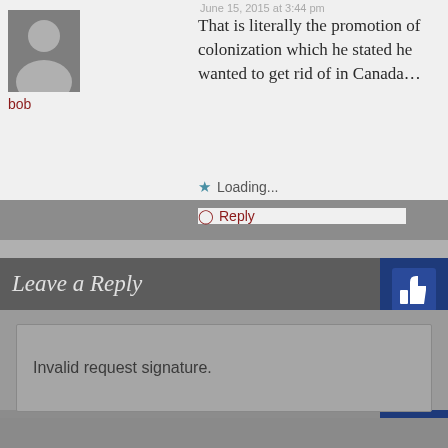June 15, 2015 at 3:44 pm
[Figure (illustration): Gray avatar silhouette of a person (no face), used as a default user profile image]
bob
That is literally the promotion of colonization which he stated he wanted to get rid of in Canada…
Loading...
Reply
Leave a Reply
Invalid request signature.
[Figure (logo): Facebook like/thumbs-up button widget with dark blue background and 'facebook' text written vertically]